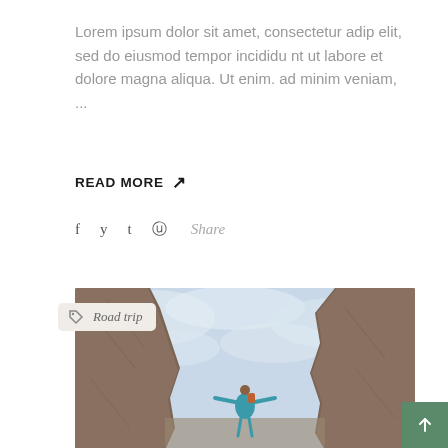Lorem ipsum dolor sit amet, consectetur adip elit, sed do eiusmod tempor incididu nt ut labore et dolore magna aliqua. Ut enim. ad minim veniam, ...
READ MORE ↗
f  y  t  ♀  Share
[Figure (photo): Photo of a person with arms outstretched standing between two large rock formations with a cloudy sky background, with a 'Road trip' tag badge overlay in the top-left corner]
[Figure (other): Green back-to-top button with upward arrow in bottom-right corner]